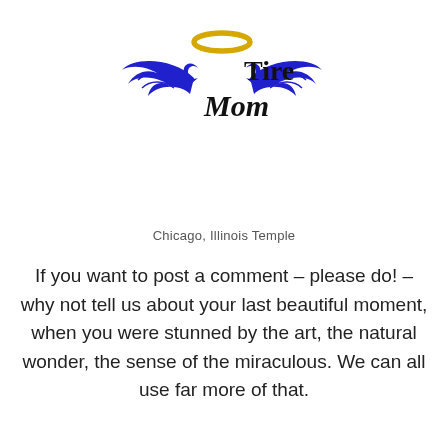[Figure (logo): Tire Mom logo with blue angel wings, a golden halo, and stylized cursive 'Mom' with 'Tire' text in black serif font]
Chicago, Illinois Temple
If you want to post a comment – please do! – why not tell us about your last beautiful moment, when you were stunned by the art, the natural wonder, the sense of the miraculous. We can all use far more of that.